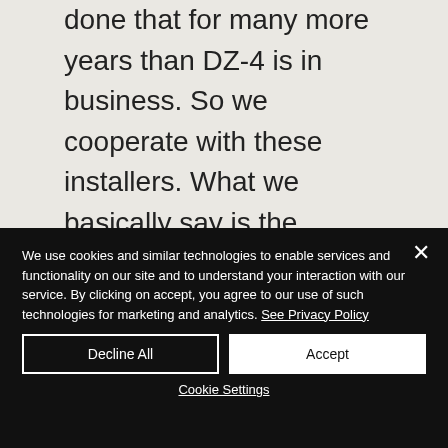done that for many more years than DZ-4 is in business. So we cooperate with these installers. What we basically say is the customer interface. So we look at your consumption profile, about your preferences, and we come up with a seven-kilowatt peak system and a five-kilowatt hour storage system.
We use cookies and similar technologies to enable services and functionality on our site and to understand your interaction with our service. By clicking on accept, you agree to our use of such technologies for marketing and analytics. See Privacy Policy
Decline All
Accept
Cookie Settings